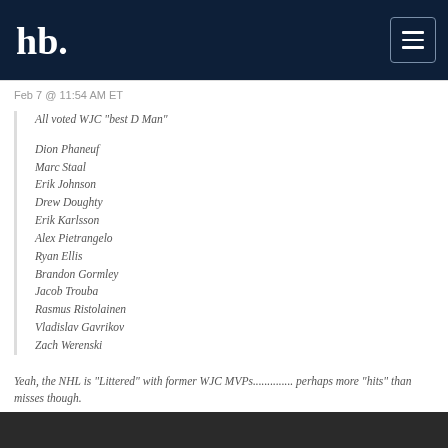hb. [logo] [menu button]
Feb 7 @ 11:54 AM ET
All voted WJC "best D Man"
Dion Phaneuf
Marc Staal
Erik Johnson
Drew Doughty
Erik Karlsson
Alex Pietrangelo
Ryan Ellis
Brandon Gormley
Jacob Trouba
Rasmus Ristolainen
Vladislav Gavrikov
Zach Werenski
Yeah, the NHL is "Littered" with former WJC MVPs.............. perhaps more "hits" than misses though.
Not a WJC MVP: